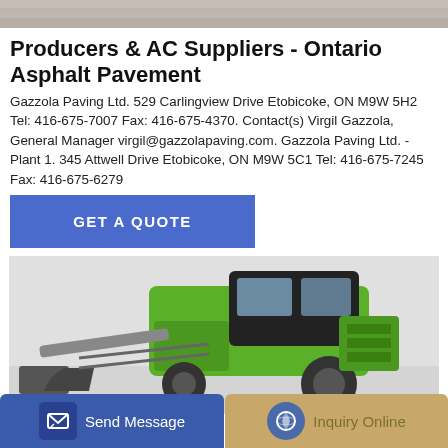[Figure (photo): Top banner photo, textured stone or road surface]
Producers & AC Suppliers - Ontario Asphalt Pavement
Gazzola Paving Ltd. 529 Carlingview Drive Etobicoke, ON M9W 5H2 Tel: 416-675-7007 Fax: 416-675-4370. Contact(s) Virgil Gazzola, General Manager virgil@gazzolapaving.com. Gazzola Paving Ltd. - Plant 1. 345 Attwell Drive Etobicoke, ON M9W 5C1 Tel: 416-675-7245 Fax: 416-675-6279
[Figure (other): Blue GET A QUOTE button]
[Figure (photo): Green asphalt paving machine on light grey background]
[Figure (other): Bottom navigation bar with Send Message and Inquiry Online buttons]